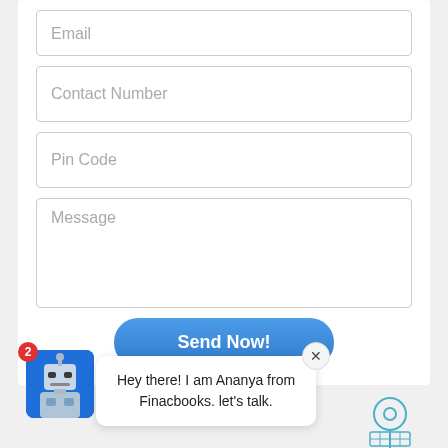[Figure (screenshot): Web contact form with fields for Email, Contact Number, Pin Code, Message, and a Send Now! button. Below the form is a chat widget with an AI avatar (robot) and a speech bubble saying 'Hey there! I am Ananya from Finacbooks. let's talk.' with a close button and a badge showing 2 unread messages.]